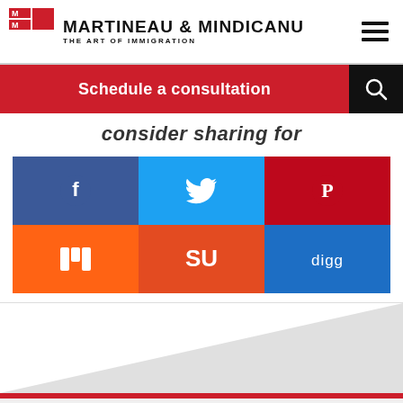Martineau & Mindicanu — The Art of Immigration
Schedule a consultation
Consider sharing for
[Figure (infographic): Social media sharing buttons grid: Facebook (blue), Twitter (light blue), Pinterest (red), Mix (orange), StumbleUpon (orange-red), Digg (blue)]
Our Testimonials